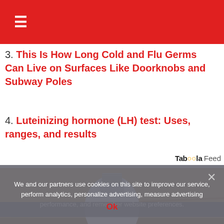≡
3. This Is How Long Cold and Flu Germs Can Live on Surfaces Like Doorknobs and Subway Poles
4. Luteinizing hormone (LH) test: Uses, ranges, and results
[Figure (logo): Taboola Feed logo]
[Figure (photo): A hand holding a white smart light bulb with metallic screw base against a wooden surface background]
We and our partners use cookies on this site to improve our service, perform analytics, personalize advertising, measure advertising performance, and remember website preferences.
Ok